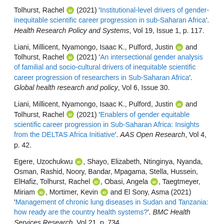Tolhurst, Rachel (2021) 'Institutional-level drivers of gender-inequitable scientific career progression in sub-Saharan Africa'. Health Research Policy and Systems, Vol 19, Issue 1, p. 117.
Liani, Millicent, Nyamongo, Isaac K., Pulford, Justin and Tolhurst, Rachel (2021) 'An intersectional gender analysis of familial and socio-cultural drivers of inequitable scientific career progression of researchers in Sub-Saharan Africa'. Global health research and policy, Vol 6, Issue 30.
Liani, Millicent, Nyamongo, Isaac K., Pulford, Justin and Tolhurst, Rachel (2021) 'Enablers of gender equitable scientific career progression in Sub-Saharan Africa: Insights from the DELTAS Africa Initiative'. AAS Open Research, Vol 4, p. 42.
Egere, Uzochukwu, Shayo, Elizabeth, Ntinginya, Nyanda, Osman, Rashid, Noory, Bandar, Mpagama, Stella, Hussein, ElHafiz, Tolhurst, Rachel, Obasi, Angela, Taegtmeyer, Miriam, Mortimer, Kevin and El Sony, Asma (2021) 'Management of chronic lung diseases in Sudan and Tanzania: how ready are the country health systems?'. BMC Health Services Research, Vol 21, p. 734.